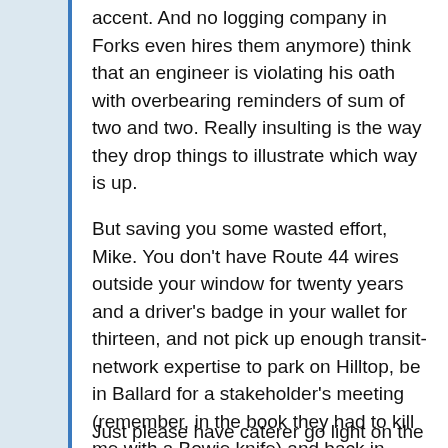accent. And no logging company in Forks even hires them anymore) think that an engineer is violating his oath with overbearing reminders of sum of two and two. Really insulting is the way they drop things to illustrate which way is up.
But saving you some wasted effort, Mike. You don't have Route 44 wires outside your window for twenty years and a driver's badge in your wallet for thirteen, and not pick up enough transit-network expertise to park on Hilltop, be in Ballard for a stakeholder's meeting (remember, in the book they had to kill me with a Bowie knife) and back in Evergreen Park before dawn without a snow tire-tread north of Tacoma Street!
Just please have caterer go light on the garlic in